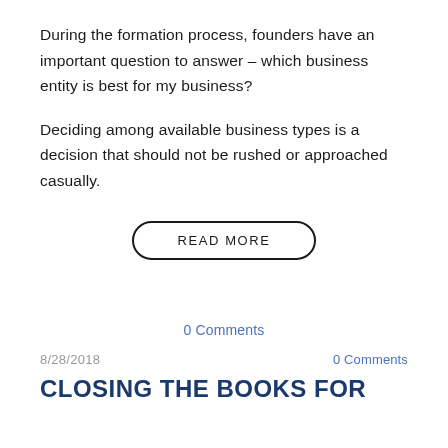During the formation process, founders have an important question to answer – which business entity is best for my business?
Deciding among available business types is a decision that should not be rushed or approached casually.
READ MORE
0 Comments
8/28/2018
0 Comments
CLOSING THE BOOKS FOR